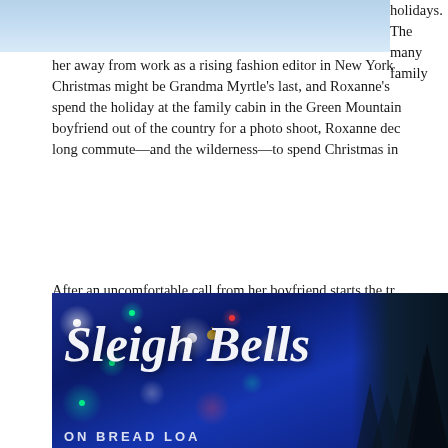[Figure (illustration): Top portion of a snowy/winter scene book cover image, light blue tones]
holidays. The many family her away from work as a rising fashion editor in New York, Christmas might be Grandma Myrtle’s last, and Roxanne’s spend the holiday at the family cabin in the Green Mountain boyfriend out of the country for a photo shoot, Roxanne dec long commute—and the wilderness—to spend Christmas in
After an uncomfortable call from her boyfriend starts the tr is blindsided by a blizzard on the snowy mountain road, wh hears before losing consciousness is sleigh bells. When she Foster, a handsome park ranger who’s the exact opposite of always thought she wanted, Roxanne seeks her grandmothe discovers an uncanny connection that could be a sign of wh meant to be.
[Figure (illustration): Book cover for 'Sleigh Bells' - deep blue background with bokeh Christmas lights, decorative script title text, and snowy forest trees on the right side]